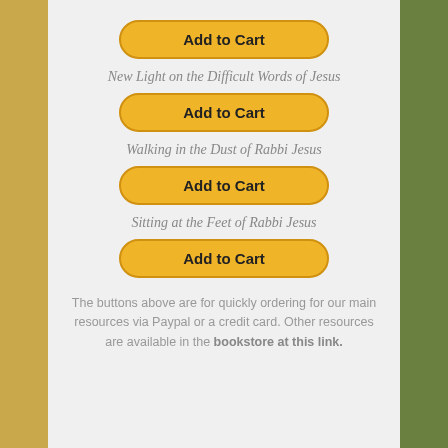[Figure (other): Add to Cart button (yellow/gold rounded rectangle)]
New Light on the Difficult Words of Jesus
[Figure (other): Add to Cart button (yellow/gold rounded rectangle)]
Walking in the Dust of Rabbi Jesus
[Figure (other): Add to Cart button (yellow/gold rounded rectangle)]
Sitting at the Feet of Rabbi Jesus
[Figure (other): Add to Cart button (yellow/gold rounded rectangle)]
The buttons above are for quickly ordering for our main resources via Paypal or a credit card. Other resources are available in the bookstore at this link.